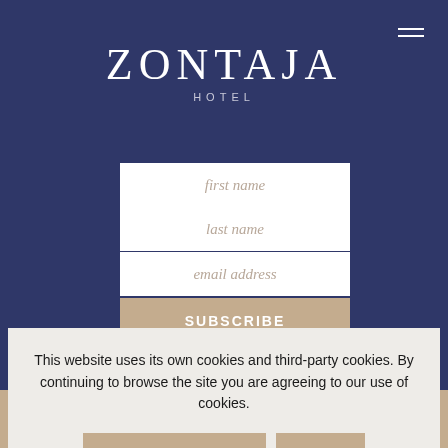ZONTAJA HOTEL
first name
last name
email address
SUBSCRIBE
This website uses its own cookies and third-party cookies. By continuing to browse the site you are agreeing to our use of cookies.
MORE INFORMATION
OK
ENQUIRE NOW
BOOK ONLINE